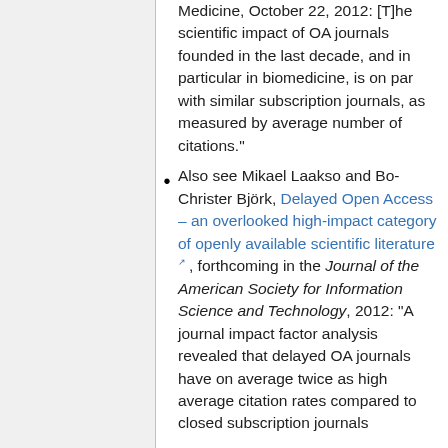Medicine, October 22, 2012: [T]he scientific impact of OA journals founded in the last decade, and in particular in biomedicine, is on par with similar subscription journals, as measured by average number of citations."
Also see Mikael Laakso and Bo-Christer Björk, Delayed Open Access – an overlooked high-impact category of openly available scientific literature, forthcoming in the Journal of the American Society for Information Science and Technology, 2012: "A journal impact factor analysis revealed that delayed OA journals have on average twice as high average citation rates compared to closed subscription journals